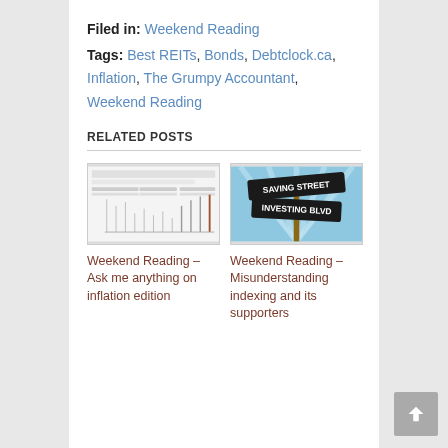Filed in: Weekend Reading
Tags: Best REITs, Bonds, Debtclock.ca, Inflation, The Grumpy Accountant, Weekend Reading
RELATED POSTS
[Figure (screenshot): Thumbnail image of a chart/spreadsheet related to inflation data]
Weekend Reading – Ask me anything on inflation edition
[Figure (illustration): Illustration of street signs reading 'Saving Street' and 'Investing Blvd' against a blue sunburst background]
Weekend Reading – Misunderstanding indexing and its supporters